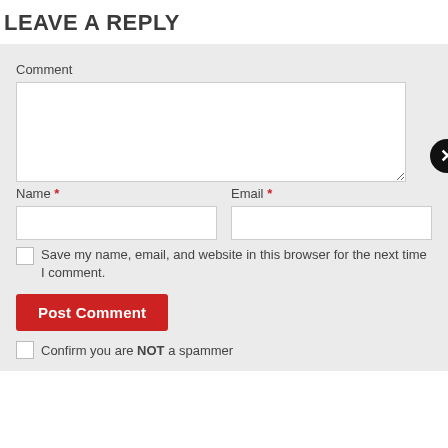LEAVE A REPLY
Comment
Name *
Email *
Save my name, email, and website in this browser for the next time I comment.
Post Comment
Confirm you are NOT a spammer